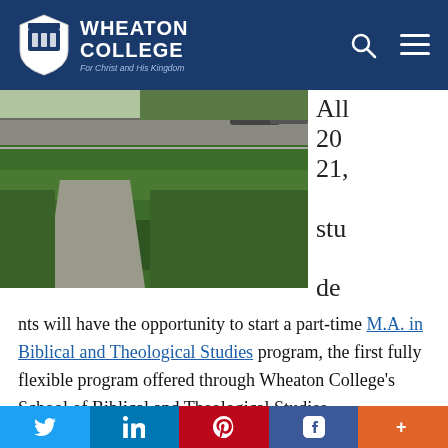WHEATON COLLEGE For Christ and His Kingdom
[Figure (photo): Outdoor photo of a green grassy lawn with a paved path and parking area in the background]
All 2021, students will have the opportunity to start a part-time M.A. in Biblical and Theological Studies program, the first fully flexible program offered through Wheaton College's School of Biblical and Theological Studies.
Wheaton's M.A. in Biblical and Theological Studies prepares students to study and interpret the Bible for
Twitter | LinkedIn | Pinterest | Facebook | More